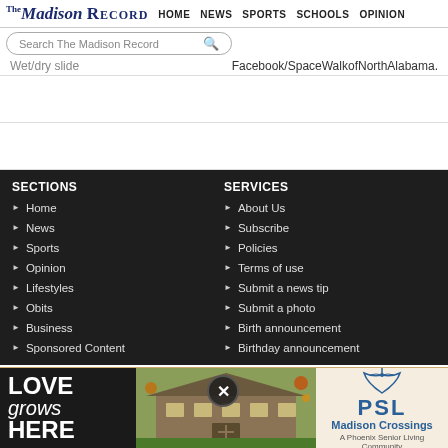The Madison Record | HOME | NEWS | SPORTS | SCHOOLS | OPINION
Wet/dry slide | Facebook/SpaceWalkofNorthAlabama.
SECTIONS
Home
News
Sports
Opinion
Lifestyles
Obits
Business
Sponsored Content
SERVICES
About Us
Subscribe
Policies
Terms of use
Submit a news tip
Submit a photo
Birth announcement
Birthday announcement
[Figure (illustration): Madison Crossings senior living community advertisement with 'LOVE grows HERE' text, building photo, PSL logo, and Madison Crossings A Phoenix Senior Living Community branding]